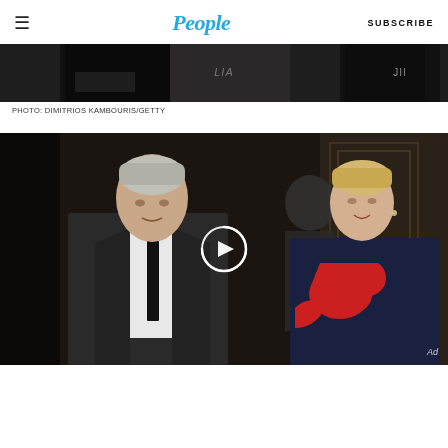People | SUBSCRIBE
[Figure (photo): Cropped lower portion of a photo showing people from waist down, dark background with 'LIA' text visible, partial 'JII' text on right side]
PHOTO: DIMITRIOS KAMBOURIS/GETTY
[Figure (photo): Video thumbnail of a man in a dark suit with a black tie (David Foster) standing with a blonde woman in a navy blue and red sleeveless dress (Yolanda) in front of an ornate interior. A circular play button loading spinner overlays the center. An 'Ad' label appears in the lower right corner.]